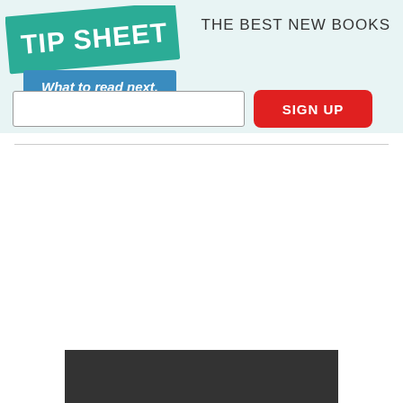[Figure (logo): Tip Sheet logo with green rotated banner reading TIP SHEET and blue banner reading What to read next.]
THE BEST NEW BOOKS
[Figure (screenshot): Email signup form with text input field and red SIGN UP button]
[Figure (photo): Dark gray/charcoal rectangle at bottom of page, partial image]